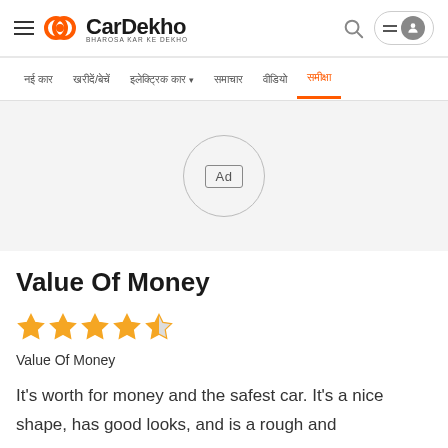[Figure (logo): CarDekho logo with hamburger menu, orange circular icon, CarDekho text, and BHAROSA KAR KE DEKHO tagline. Right side has search icon and user profile button.]
नई कार | खरीदें/बेचें | इलेक्ट्रिक कार ▾ | समाचार | वीडियो | समीक्षा
[Figure (other): Advertisement placeholder - grey background area with circular border containing 'Ad' label in a rounded rectangle]
Value Of Money
[Figure (other): Star rating: 4 filled orange stars and 1 half orange star]
Value Of Money
It's worth for money and the safest car. It's a nice shape, has good looks, and is a rough and